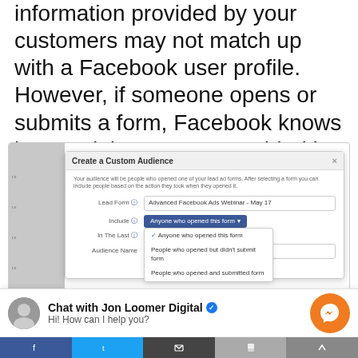information provided by your customers may not match up with a Facebook user profile. However, if someone opens or submits a form, Facebook knows it — and the content provided is no longer critical.
[Figure (screenshot): Facebook 'Create a Custom Audience' dialog showing Lead Form dropdown set to 'Advanced Facebook Ads Webinar - May 17', Include dropdown open with options: 'Anyone who opened this form' (checked), 'People who opened but didn't submit form', 'People who opened and submitted form', and Audience Name field with placeholder 'Enter a name for your audience'.]
Chat with Jon Loomer Digital ✓
Hi! How can I help you?